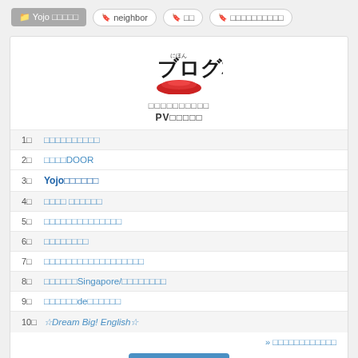Yojo □□□□□
neighbor
□□
□□□□□□□□□□
[Figure (logo): Nippon Blog Mura (にほんブログ村) logo with Japanese text and red mountain graphic]
□□□□□□□□□□
PV□□□□□
1□ □□□□□□□□□□
2□ □□□□DOOR
3□ Yojo□□□□□□
4□ □□□□ □□□□□□
5□ □□□□□□□□□□□□□□
6□ □□□□□□□□
7□ □□□□□□□□□□□□□□□□□□
8□ □□□□□□Singapore/□□□□□□□□
9□ □□□□□□de□□□□□□
10□ ☆Dream Big! English☆
>> □□□□□□□□□□□□
□□□□□□□□□□